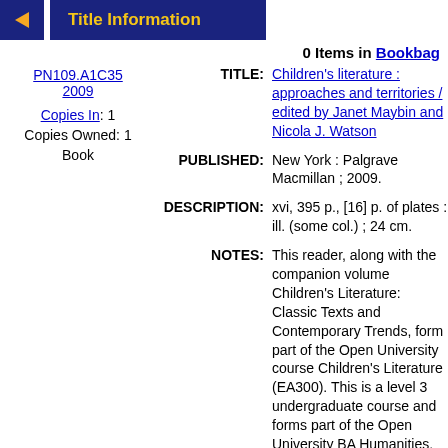Title Information
0 Items in Bookbag
PN109.A1C35 2009
Copies In: 1
Copies Owned: 1
Book
TITLE: Children's literature : approaches and territories / edited by Janet Maybin and Nicola J. Watson
PUBLISHED: New York : Palgrave Macmillan ; 2009.
DESCRIPTION: xvi, 395 p., [16] p. of plates : ill. (some col.) ; 24 cm.
NOTES: This reader, along with the companion volume Children's Literature: Classic Texts and Contemporary Trends, form part of the Open University course Children's Literature (EA300). This is a level 3 undergraduate course and forms part of the Open University BA Humanities,